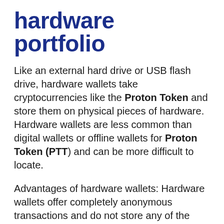hardware portfolio
Like an external hard drive or USB flash drive, hardware wallets take cryptocurrencies like the Proton Token and store them on physical pieces of hardware. Hardware wallets are less common than digital wallets or offline wallets for Proton Token (PTT) and can be more difficult to locate.
Advantages of hardware wallets: Hardware wallets offer completely anonymous transactions and do not store any of the user's personal data on the hardware. Unlike offline wallets, hardware wallets cannot be exposed to malware and offer a more secure environment to hold